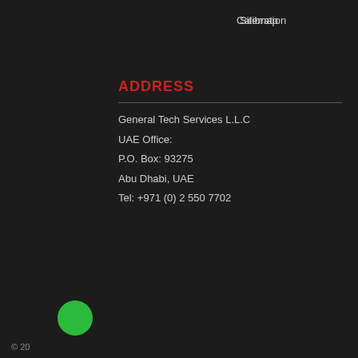Calibration    Sitemap
ADDRESS
General Tech Services L.L.C
UAE Office:
P.O. Box: 93275
Abu Dhabi, UAE
Tel: +971 (0) 2 550 7702
[Figure (logo): GeneralTech Shop.com logo with speedometer icon and tagline 'A Division of General Tech Services L.L.C.']
Visit Our Dedicated Store.
Stay on www.generaltechshop.ae
Go to www.generaltechshop.com
© 20